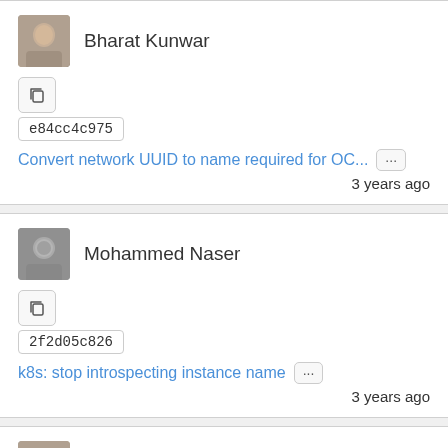Bharat Kunwar
e84cc4c975
Convert network UUID to name required for OC...
3 years ago
Mohammed Naser
2f2d05c826
k8s: stop introspecting instance name
3 years ago
Bharat Kunwar